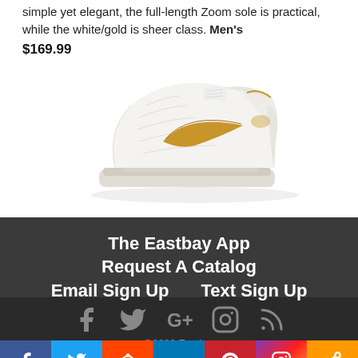simple yet elegant, the full-length Zoom sole is practical, while the white/gold is sheer class. Men's $169.99
[Figure (photo): White and gold Nike LeBron basketball shoe on white background]
The Eastbay App
Request A Catalog
Email Sign Up    Text Sign Up
[Figure (infographic): Social media icons: Facebook, Twitter, Google+, Instagram, RSS feed]
@2020 Eastbay
[Figure (infographic): Share bar with colored social media buttons: Facebook, Twitter, Reddit, LinkedIn, Pinterest, Instagram, Share]